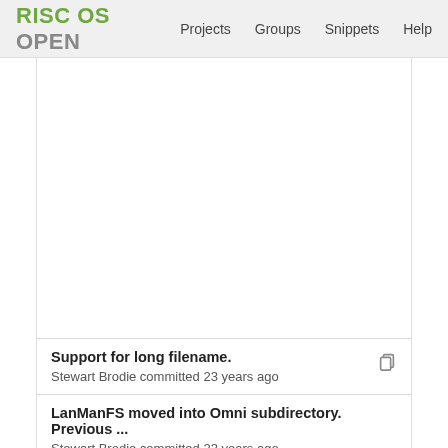RISC OS OPEN  Projects  Groups  Snippets  Help
Support for long filename.
Stewart Brodie committed 23 years ago
LanManFS moved into Omni subdirectory. Previous ...
Stewart Brodie committed 23 years ago
Support for long filename.
Stewart Brodie committed 23 years ago
Directory rename fixed - the mask being passed b...
Robert Sprowson committed 19 years ago
LanManFS moved into Omni subdirectory. Previous ...
Stewart Brodie committed 23 years ago